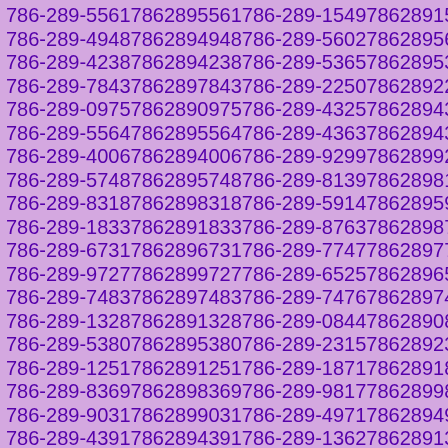786-289-5561 7862895561 786-289-1549 7862891549
786-289-4948 7862894948 786-289-5602 7862895602
786-289-4238 7862894238 786-289-5365 7862895365
786-289-7843 7862897843 786-289-2250 7862892250
786-289-0975 7862890975 786-289-4325 7862894325
786-289-5564 7862895564 786-289-4363 7862894363
786-289-4006 7862894006 786-289-9299 7862899299
786-289-5748 7862895748 786-289-8139 7862898139
786-289-8318 7862898318 786-289-5914 7862895914
786-289-1833 7862891833 786-289-8763 7862898763
786-289-6731 7862896731 786-289-7747 7862897747
786-289-9727 7862899727 786-289-6525 7862896525
786-289-7483 7862897483 786-289-7476 7862897476
786-289-1328 7862891328 786-289-0844 7862890844
786-289-5380 7862895380 786-289-2315 7862892315
786-289-1251 7862891251 786-289-1871 7862891871
786-289-8369 7862898369 786-289-9817 7862899817
786-289-9031 7862899031 786-289-4971 7862894971
786-289-4391 7862894391 786-289-1362 7862891362
786-289-6388 7862896388 786-289-1808 7862891808
786-289-6491 7862896491 786-289-6502 7862896502